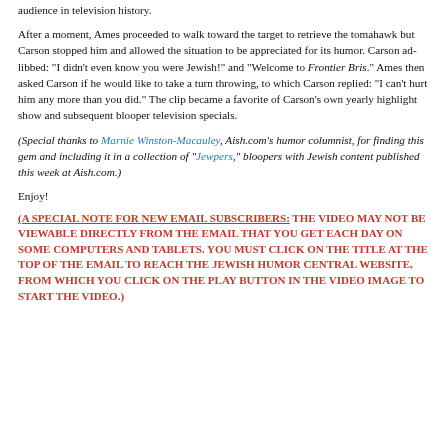audience in television history.
After a moment, Ames proceeded to walk toward the target to retrieve the tomahawk but Carson stopped him and allowed the situation to be appreciated for its humor. Carson ad-libbed: "I didn't even know you were Jewish!" and "Welcome to Frontier Bris." Ames then asked Carson if he would like to take a turn throwing, to which Carson replied: "I can't hurt him any more than you did." The clip became a favorite of Carson's own yearly highlight show and subsequent blooper television specials.
(Special thanks to Marnie Winston-Macauley, Aish.com’s humor columnist, for finding this gem and including it in a collection of "Jewpers," bloopers with Jewish content published this week at Aish.com.)
Enjoy!
(A SPECIAL NOTE FOR NEW EMAIL SUBSCRIBERS:  THE VIDEO MAY NOT BE VIEWABLE DIRECTLY FROM THE EMAIL THAT YOU GET EACH DAY ON SOME COMPUTERS AND TABLETS.  YOU MUST CLICK ON THE TITLE AT THE TOP OF THE EMAIL TO REACH THE JEWISH HUMOR CENTRAL WEBSITE, FROM WHICH YOU CLICK ON THE PLAY BUTTON IN THE VIDEO IMAGE TO START THE VIDEO.)